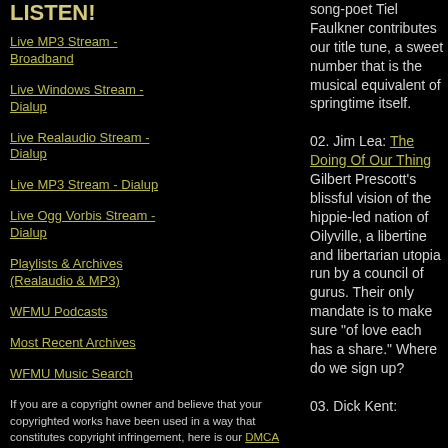LISTEN!
Live MP3 Stream - Broadband
Live Windows Stream - Dialup
Live Realaudio Stream - Dialup
Live MP3 Stream - Dialup
Live Ogg Vorbis Stream - Dialup
Playlists & Archives (Realaudio & MP3)
WFMU Podcasts
Most Recent Archives
WFMU Music Search
If you are a copyright owner and believe that your copyrighted works have been used in a way that constitutes copyright infringement, here is our DMCA Notice.
song-poet Tiel Faulkner contributes our title tune, a sweet number that is the musical equivalent of springtime itself.

02. Jim Lea: The Doing Of Our Thing Gilbert Prescott's blissful vision of the hippie-led nation of Oilyville, a libertine and libertarian utopia run by a council of gurus. Their only mandate is to make sure "of love each has a share." Where do we sign up?

03. Dick Kent: